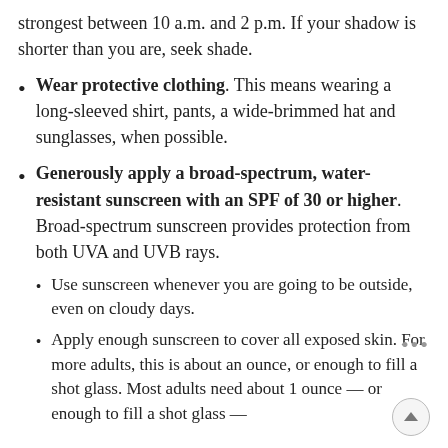strongest between 10 a.m. and 2 p.m. If your shadow is shorter than you are, seek shade.
Wear protective clothing. This means wearing a long-sleeved shirt, pants, a wide-brimmed hat and sunglasses, when possible.
Generously apply a broad-spectrum, water-resistant sunscreen with an SPF of 30 or higher. Broad-spectrum sunscreen provides protection from both UVA and UVB rays.
Use sunscreen whenever you are going to be outside, even on cloudy days.
Apply enough sunscreen to cover all exposed skin. For more adults, this is about an ounce, or enough to fill a shot glass. Most adults need about 1 ounce — or enough to fill a shot glass —